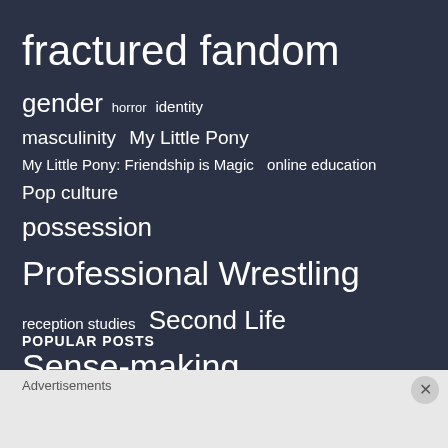[Figure (infographic): Tag cloud on dark navy background with tags of varying sizes: fractured fandom, gender, horror, identity, masculinity, My Little Pony, My Little Pony: Friendship is Magic, online education, Pop culture, possession, Professional Wrestling, reception studies, Second Life, Sense-making, Sense-Making Methodology, sexuality, Slash, social media, Star Trek, Star Wars, Superheroes, Television, The Exorcist, Uses and Gratifications, Virtual worlds, virtual world television, wrestling, WWE]
POPULAR POSTS
Advertisements